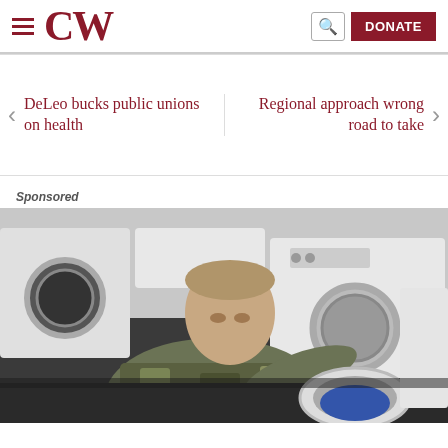CW
DeLeo bucks public unions on health
Regional approach wrong road to take
Sponsored
[Figure (photo): A soldier in camouflage uniform kneeling and loading laundry into a washing machine, with multiple white washing machines visible in the background on a dark floor.]